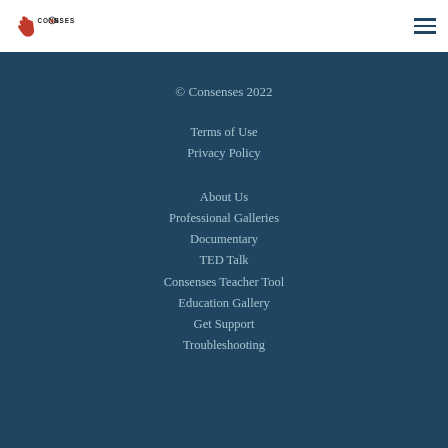[Figure (logo): Consenses logo with hand icon and text CONSENSES]
© Consenses 2022
Terms of Use
Privacy Policy
About Us
Professional Galleries
Documentary
TED Talk
Consenses Teacher Tool
Education Gallery
Get Support
Troubleshooting